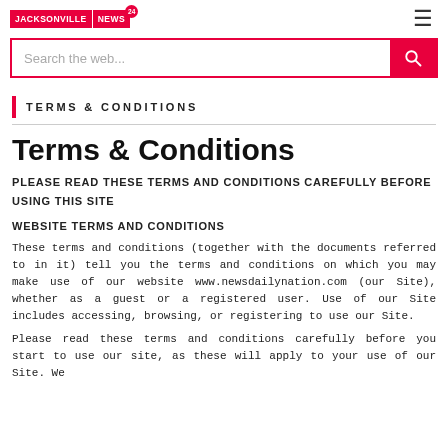JACKSONVILLE NEWS 24
Search the web...
TERMS & CONDITIONS
Terms & Conditions
PLEASE READ THESE TERMS AND CONDITIONS CAREFULLY BEFORE USING THIS SITE
WEBSITE TERMS AND CONDITIONS
These terms and conditions (together with the documents referred to in it) tell you the terms and conditions on which you may make use of our website www.newsdailynation.com (our Site), whether as a guest or a registered user. Use of our Site includes accessing, browsing, or registering to use our Site.
Please read these terms and conditions carefully before you start to use our site, as these will apply to your use of our Site. We